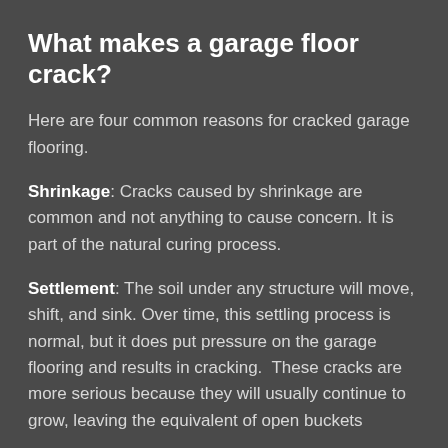What makes a garage floor crack?
Here are four common reasons for cracked garage flooring.
Shrinkage: Cracks caused by shrinkage are common and not anything to cause concern. It is part of the natural curing process.
Settlement: The soil under any structure will move, shift, and sink. Over time, this settling process is normal, but it does put pressure on the garage flooring and results in cracking.  These cracks are more serious because they will usually continue to grow, leaving the equivalent of open buckets